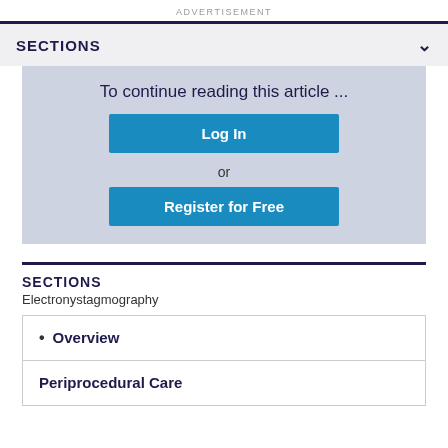ADVERTISEMENT
SECTIONS
To continue reading this article ...
Log In
or
Register for Free
SECTIONS
Electronystagmography
Overview
Periprocedural Care